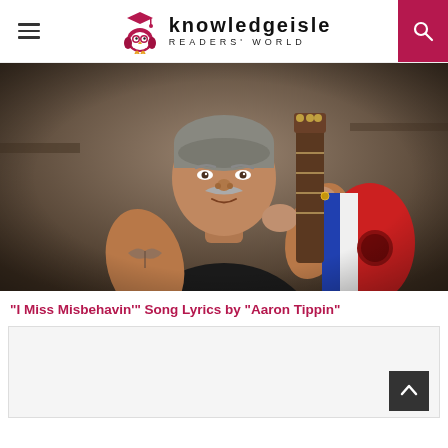knowledgeisle READERS' WORLD
[Figure (photo): Photo of Aaron Tippin, an older man with a gray mustache, wearing a black sleeveless shirt, holding a red white and blue acoustic guitar, with a tattoo visible on his upper arm. Background is a dim indoor setting.]
“I Miss Misbehavin’” Song Lyrics by “Aaron Tippin”
[Figure (other): Light gray content box area, partially visible, with a dark back-to-top arrow button in the bottom right corner.]